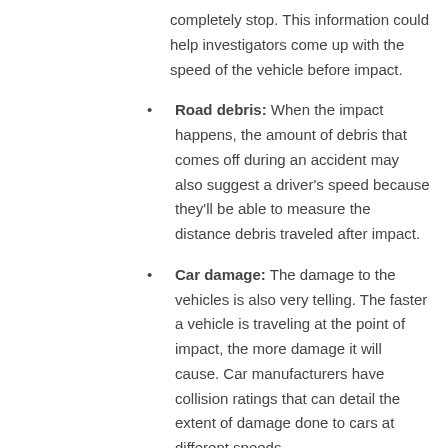completely stop. This information could help investigators come up with the speed of the vehicle before impact.
Road debris: When the impact happens, the amount of debris that comes off during an accident may also suggest a driver's speed because they'll be able to measure the distance debris traveled after impact.
Car damage: The damage to the vehicles is also very telling. The faster a vehicle is traveling at the point of impact, the more damage it will cause. Car manufacturers have collision ratings that can detail the extent of damage done to cars at different speeds.
Electronic records: If you were hit by a